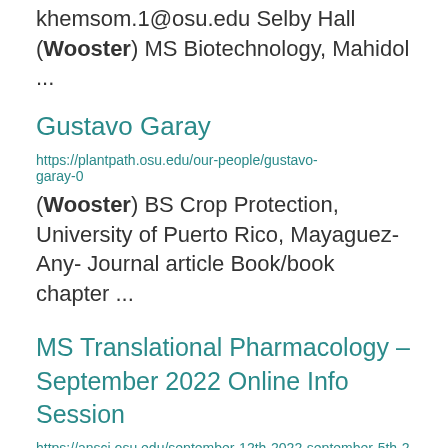khemsom.1@osu.edu Selby Hall (Wooster) MS Biotechnology, Mahidol ...
Gustavo Garay
https://plantpath.osu.edu/our-people/gustavo-garay-0
(Wooster) BS Crop Protection, University of Puerto Rico, Mayaguez- Any- Journal article Book/book chapter ...
MS Translational Pharmacology – September 2022 Online Info Session
https://ansci.osu.edu/september-12th-2022-september-5th-2022-august-29th-2022-august-22nd-2022/ms-translational